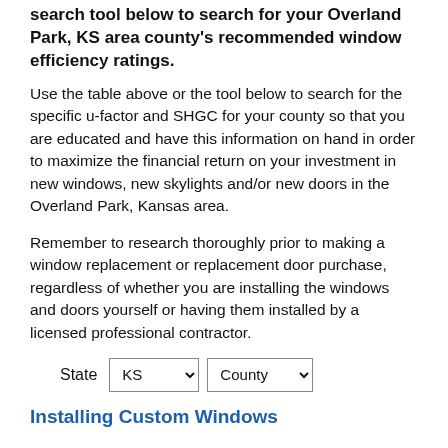search tool below to search for your Overland Park, KS area county's recommended window efficiency ratings.
Use the table above or the tool below to search for the specific u-factor and SHGC for your county so that you are educated and have this information on hand in order to maximize the financial return on your investment in new windows, new skylights and/or new doors in the Overland Park, Kansas area.
Remember to research thoroughly prior to making a window replacement or replacement door purchase, regardless of whether you are installing the windows and doors yourself or having them installed by a licensed professional contractor.
State  KS [dropdown]  County [dropdown]
Installing Custom Windows